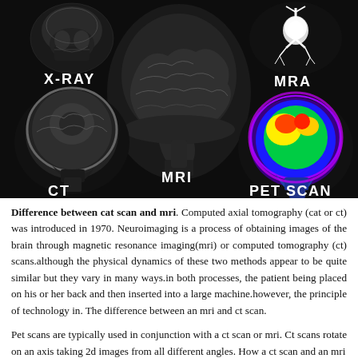[Figure (photo): Composite medical brain imaging comparison showing five scan types on dark background: X-RAY (top left, small skull), MRI (center top and center, large sagittal brain MRI), MRA (top right, bright white vascular image), CT (bottom left, grayscale sagittal head), and PET SCAN (bottom right, colorful rainbow-colored sagittal brain). Each scan type is labeled in white bold text.]
Difference between cat scan and mri. Computed axial tomography (cat or ct) was introduced in 1970. Neuroimaging is a process of obtaining images of the brain through magnetic resonance imaging(mri) or computed tomography (ct) scans.although the physical dynamics of these two methods appear to be quite similar but they vary in many ways.in both processes, the patient being placed on his or her back and then inserted into a large machine.however, the principle of technology in. The difference between an mri and ct scan.
Pet scans are typically used in conjunction with a ct scan or mri. Ct scans rotate on an axis taking 2d images from all different angles. How a ct scan and an mri